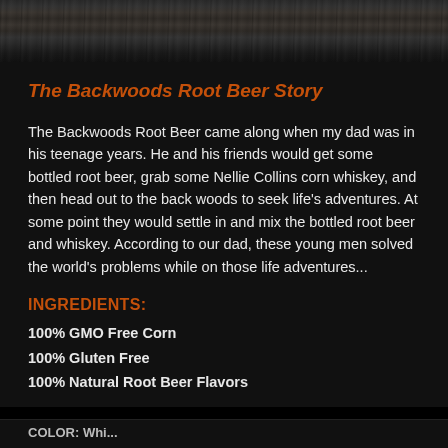[Figure (photo): Dark wood texture banner at the top of the label]
The Backwoods Root Beer Story
The Backwoods Root Beer came along when my dad was in his teenage years. He and his friends would get some bottled root beer, grab some Nellie Collins corn whiskey, and then head out to the back woods to seek life’s adventures. At some point they would settle in and mix the bottled root beer and whiskey. According to our dad, these young men solved the world’s problems while on those life adventures...
INGREDIENTS:
100% GMO Free Corn
100% Gluten Free
100% Natural Root Beer Flavors
COLOR: Whi...